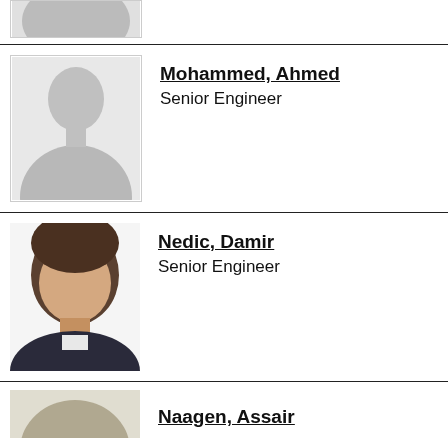[Figure (photo): Partial placeholder silhouette photo at top of page (cropped entry above)]
[Figure (photo): Placeholder silhouette headshot for Mohammed, Ahmed]
Mohammed, Ahmed
Senior Engineer
[Figure (photo): Photo of Nedic, Damir - a young man with brown hair smiling]
Nedic, Damir
Senior Engineer
[Figure (photo): Partial photo at bottom of page for Naagen, Assair (cropped)]
Naagen, Assair